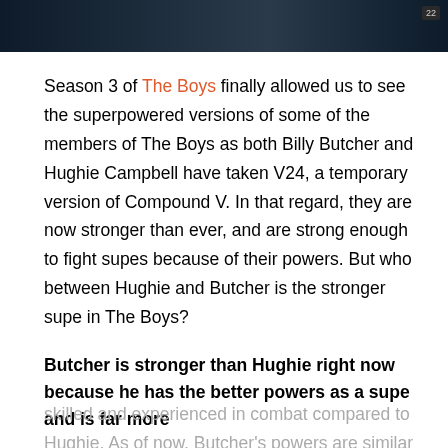[Figure (photo): Dark cinematic still from The Boys TV show, showing characters in dim lighting]
Season 3 of The Boys finally allowed us to see the superpowered versions of some of the members of The Boys as both Billy Butcher and Hughie Campbell have taken V24, a temporary version of Compound V. In that regard, they are now stronger than ever, and are strong enough to fight supes because of their powers. But who between Hughie and Butcher is the stronger supe in The Boys?
Butcher is stronger than Hughie right now because he has the better powers as a supe and is far more
skilled and experienced in combat compared to Hughie. As of now, Butcher's powers are similar to